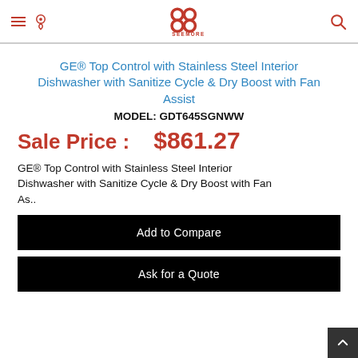SEEMORE APPLIANCE CENTER
GE® Top Control with Stainless Steel Interior Dishwasher with Sanitize Cycle & Dry Boost with Fan Assist
MODEL: GDT645SGNWW
Sale Price : $861.27
GE® Top Control with Stainless Steel Interior Dishwasher with Sanitize Cycle & Dry Boost with Fan As..
Add to Compare
Ask for a Quote